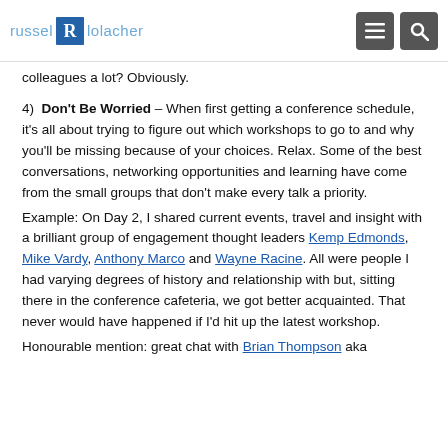russel R lolacher
colleagues a lot? Obviously.
4) Don't Be Worried – When first getting a conference schedule, it's all about trying to figure out which workshops to go to and why you'll be missing because of your choices. Relax. Some of the best conversations, networking opportunities and learning have come from the small groups that don't make every talk a priority.
Example: On Day 2, I shared current events, travel and insight with a brilliant group of engagement thought leaders Kemp Edmonds, Mike Vardy, Anthony Marco and Wayne Racine. All were people I had varying degrees of history and relationship with but, sitting there in the conference cafeteria, we got better acquainted. That never would have happened if I'd hit up the latest workshop.
Honourable mention: great chat with Brian Thompson aka